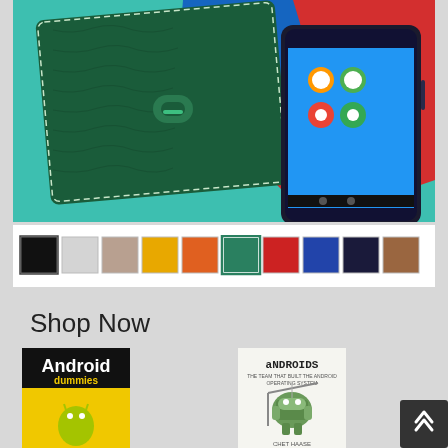[Figure (photo): Product photo of a green crocodile-leather phone wallet/case next to an Android smartphone on a teal background with red and blue accents]
[Figure (other): Color swatch selector showing 10 color options: black (selected), light gray, tan/beige, yellow/gold, orange, teal/green (highlighted), red, medium blue, dark navy, brown]
Shop Now
[Figure (photo): Book cover: Android For Dummies - yellow and black cover with android mascot]
Android For Dummies
[Figure (photo): Book cover: Androids: The Team that Built the Android Operating System - illustrated cover with robotic android figure by Chet Haase]
Androids: The Team that